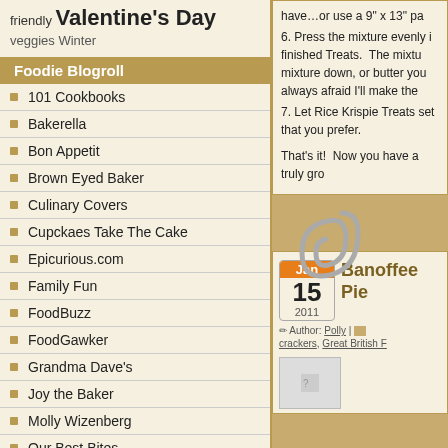friendly Valentine's Day
veggies Winter
Foodie Blogroll
101 Cookbooks
Bakerella
Bon Appetit
Brown Eyed Baker
Culinary Covers
Cupckaes Take The Cake
Epicurious.com
Family Fun
FoodBuzz
FoodGawker
Grandma Dave's
Joy the Baker
Molly Wizenberg
Our Best Bites
Party Girl Catering
have…or use a 9" x 13" pa
6. Press the mixture evenly i finished Treats. The mixtu mixture down, or butter you always afraid I'll make the
7. Let Rice Krispie Treats set that you prefer.
That's it! Now you have a truly gro
Thanks for stopping by my kitchen
Jan 15 2011
Banoffee Pie
Author: Polly | crackers, Great British F